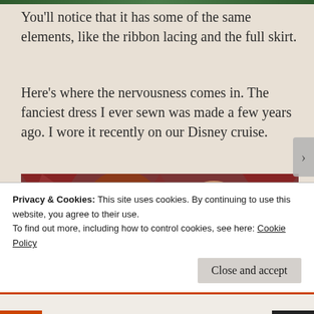You'll notice that it has some of the same elements, like the ribbon lacing and the full skirt.
Here's where the nervousness comes in. The fanciest dress I ever sewn was made a few years ago. I wore it recently on our Disney cruise.
[Figure (photo): A photo of a red-haired woman and a bald man with a beard, smiling together in what appears to be a restaurant with decorative patterned walls in red and brown tones.]
Privacy & Cookies: This site uses cookies. By continuing to use this website, you agree to their use.
To find out more, including how to control cookies, see here: Cookie Policy
Close and accept